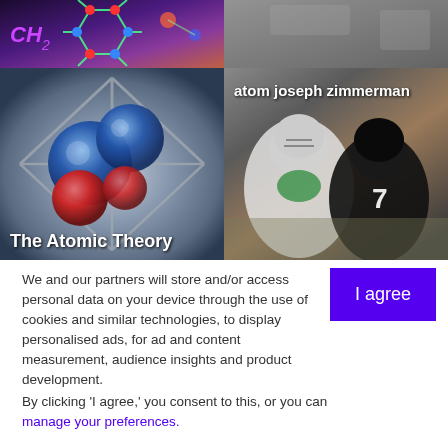[Figure (photo): Top left: chemistry/molecular image with CH2 label and hexagonal molecule structure on dark purple background]
[Figure (photo): Top right: blurred grey/dark background image (partial, top strip)]
The Atomic Theory
[Figure (photo): Left main image: 3D atom model with blue and red spheres in a metallic wireframe structure on grey background]
atom joseph zimmerman
[Figure (photo): Right main image: two American football players, one wearing white Eagles jersey and one wearing black jersey with number 7]
We and our partners will store and/or access personal data on your device through the use of cookies and similar technologies, to display personalised ads, for ad and content measurement, audience insights and product development.
By clicking 'I agree,' you consent to this, or you can manage your preferences.